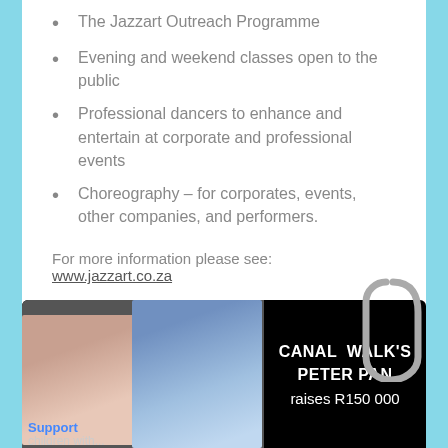The Jazzart Outreach Programme
Evening and weekend classes open to the public
Professional dancers to enhance and entertain at corporate and professional events
Choreography – for corporates, events, other companies, and performers.
For more information please see: www.jazzart.co.za
[Figure (photo): Black banner with two photos on the left (a child and two women in a mall) and text on the right reading CANAL WALK'S PETER PAN raises R150 000]